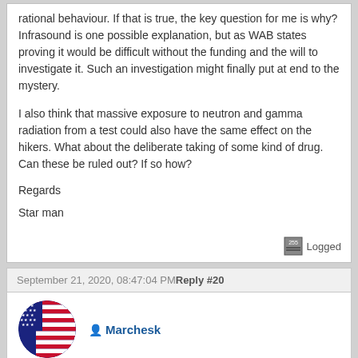rational behaviour.  If that is true, the key question for me is why?  Infrasound is one possible explanation, but as WAB states proving it would be difficult without the funding and the will to investigate it.  Such an investigation might finally put at end to the mystery.
I also think that massive exposure to neutron and gamma radiation from a test could also have the same effect on the hikers.  What about the deliberate taking of some kind of drug.  Can these be ruled out?  If so how?
Regards
Star man
Logged
September 21, 2020, 08:47:04 PM Reply #20
Marchesk
Re: Question List
Quote from: Star man on September 21, 2020, 04:11:22 PM